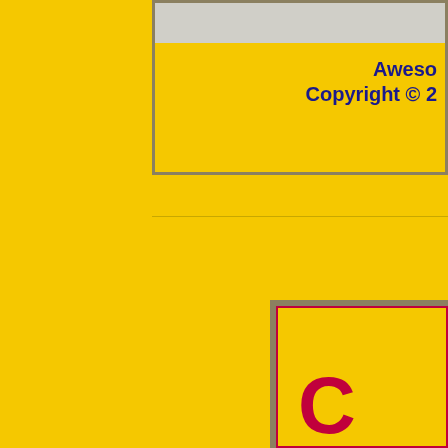[Figure (other): Partial view of a yellow-background page with a bordered box at top containing a gray image area and text 'Aweso...' and 'Copyright © 2...' in dark blue bold, a horizontal rule, and a second bordered box at bottom-right with a partial red letter visible]
Aweso
Copyright © 2